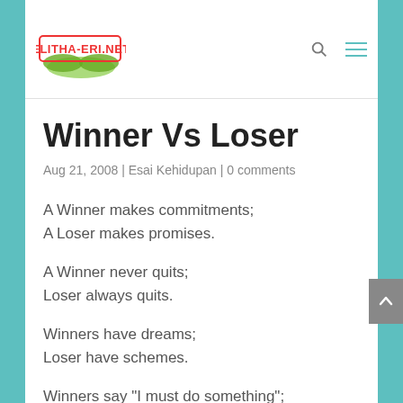ELITHA-ERI.NET
Winner Vs Loser
Aug 21, 2008 | Esai Kehidupan | 0 comments
A Winner makes commitments;
A Loser makes promises.
A Winner never quits;
Loser always quits.
Winners have dreams;
Loser have schemes.
Winners say "I must do something";